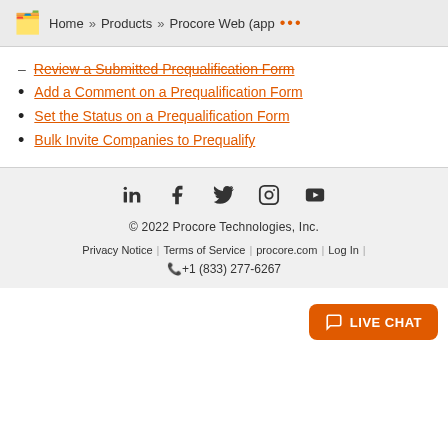Home » Products » Procore Web (app ...
Review a Submitted Prequalification Form
Add a Comment on a Prequalification Form
Set the Status on a Prequalification Form
Bulk Invite Companies to Prequalify
© 2022 Procore Technologies, Inc. | Privacy Notice | Terms of Service | procore.com | Log In | +1 (833) 277-6267